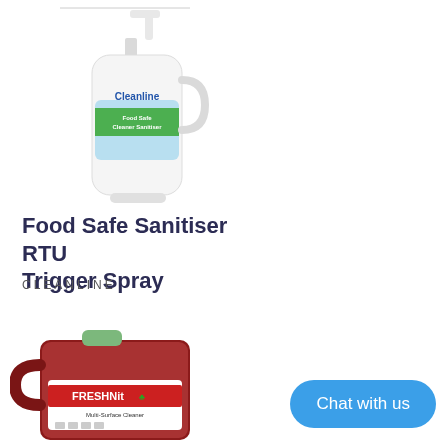[Figure (photo): Cleanline Food Safe Cleaner Sanitiser RTU trigger spray bottle, white with green label]
Food Safe Sanitiser RTU Trigger Spray
CLEANLINE
[Figure (photo): FRESHNit multi-surface cleaner 5-litre red liquid jug container with green cap]
Chat with us